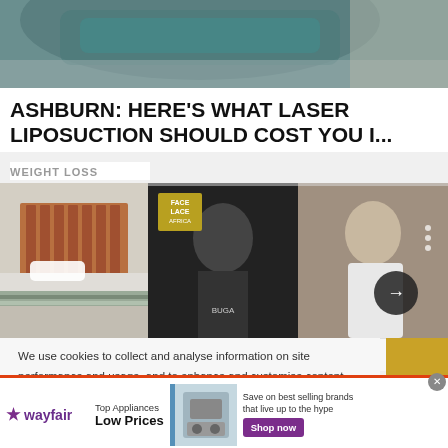[Figure (photo): Top portion of a medical/dental chair in a clinical setting, green upholstery visible]
ASHBURN: HERE'S WHAT LASER LIPOSUCTION SHOULD COST YOU I...
WEIGHT LOSS
[Figure (photo): Bed with wooden headboard and striped bedding]
[Figure (photo): Music/entertainment panel showing two images of a young Black male artist, one shirtless in black and white with chain necklace, one in white hoodie, with Face Lace Africa logo and a right arrow navigation button]
We use cookies to collect and analyse information on site performance and usage, and to enhance and customise content and advertising. By Clicking "Accept" or clicking into any content...
[Figure (infographic): Wayfair advertisement banner: wayfair logo, Top Appliances Low Prices text, appliance photo, Save on best selling brands that live up to the hype, Shop now button]